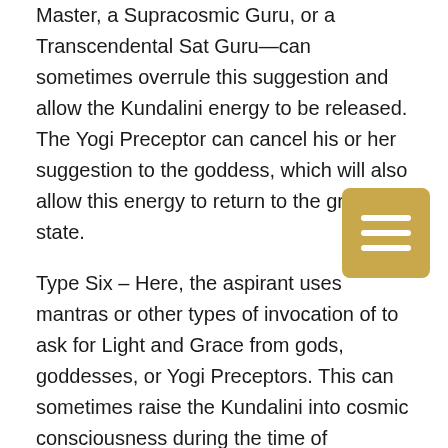Master, a Supracosmic Guru, or a Transcendental Sat Guru—can sometimes overrule this suggestion and allow the Kundalini energy to be released. The Yogi Preceptor can cancel his or her suggestion to the goddess, which will also allow this energy to return to the grounded state.
Type Six – Here, the aspirant uses mantras or other types of invocation of to ask for Light and Grace from gods, goddesses, or Yogi Preceptors. This can sometimes raise the Kundalini into cosmic consciousness during the time of